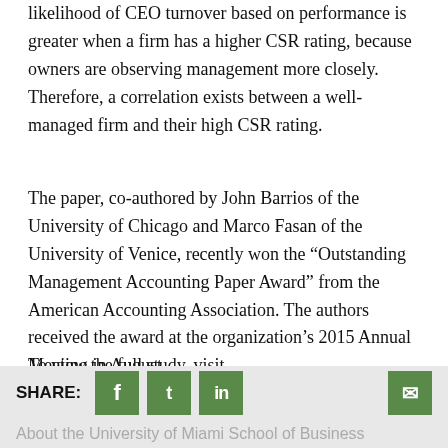likelihood of CEO turnover based on performance is greater when a firm has a higher CSR rating, because owners are observing management more closely. Therefore, a correlation exists between a well-managed firm and their high CSR rating.
The paper, co-authored by John Barrios of the University of Chicago and Marco Fasan of the University of Venice, recently won the “Outstanding Management Accounting Paper Award” from the American Accounting Association. The authors received the award at the organization’s 2015 Annual Meeting in August.
To view the full study, visit http://papers.ssrn.com/sol3/papers.cfm?abstract_id=2540753.
SHARE: [facebook] [twitter] [linkedin] [email] | About the University of Miami School of Business